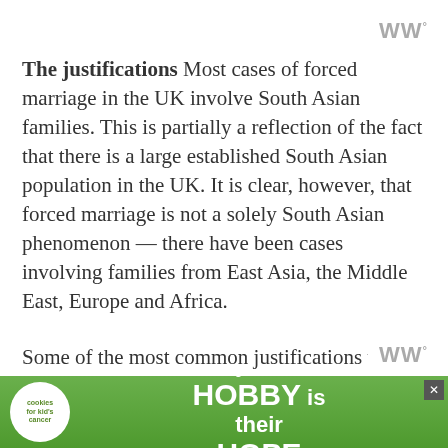W°
The justifications Most cases of forced marriage in the UK involve South Asian families. This is partially a reflection of the fact that there is a large established South Asian population in the UK. It is clear, however, that forced marriage is not a solely South Asian phenomenon — there have been cases involving families from East Asia, the Middle East, Europe and Africa.
[Figure (other): Advertisement banner: 'cookies for kid's cancer — your HOBBY is their HOPE' with green background and heart-shaped cookie logo]
W°